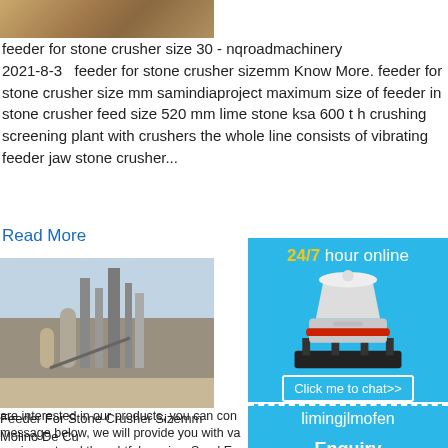[Figure (photo): Partial photo of stone/gravel surface, tan/brown colors, top portion only]
feeder for stone crusher size 30 - nqroadmachinery
2021-8-3   feeder for stone crusher sizemm Know More. feeder for stone crusher size mm samindiaproject maximum size of feeder in stone crusher feed size 520 mm lime stone ksa 600 t h crushing screening plant with crushers the whole line consists of vibrating feeder jaw stone crusher...
Read More
[Figure (photo): Industrial cement/mining plant facility in a desert setting with silos and equipment]
Feeder For Stone Crusher Sizemm Molino De Cu Feeder For Stone Crusher Sizemm Molino are interested in our products, you can con message below, we will provide you with va equipment and thoughtful service. Send En protected] send Message Chat Online. Hot
[Figure (infographic): Blue sidebar panel showing '24/7 hour online' text in yellow/white, image of a cone crusher machine, 'Click me to chat>>' button, 'Enquiry' label, and 'limingjlmofen' text]
Enquiry
limingjlmofen